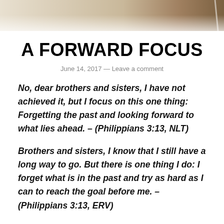[Figure (photo): Header banner image with warm tan/brown gradient tones, abstract background]
A FORWARD FOCUS
June 14, 2017 — Leave a comment
No, dear brothers and sisters, I have not achieved it, but I focus on this one thing: Forgetting the past and looking forward to what lies ahead. – (Philippians 3:13, NLT)
Brothers and sisters, I know that I still have a long way to go. But there is one thing I do: I forget what is in the past and try as hard as I can to reach the goal before me. – (Philippians 3:13, ERV)